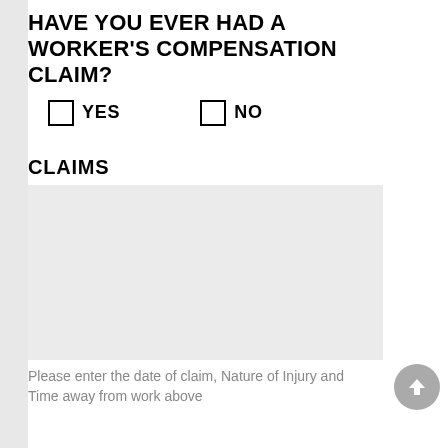HAVE YOU EVER HAD A WORKER'S COMPENSATION CLAIM?
☐ YES   ☐ NO
CLAIMS
[Figure (other): Large gray input/text area box for entering claims information]
Please enter the date of claim, Nature of Injury and Time away from work above